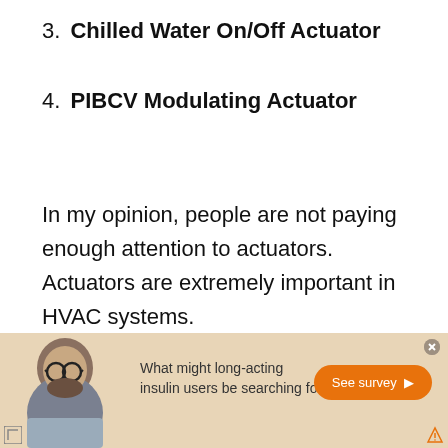3. Chilled Water On/Off Actuator
4. PIBCV Modulating Actuator
In my opinion, people are not paying enough attention to actuators. Actuators are extremely important in HVAC systems.
[Figure (other): Advertisement banner with a photo of a bearded man wearing glasses, text 'What might long-acting insulin users be searching for?' and an orange 'See survey >' button on a tan/beige background.]